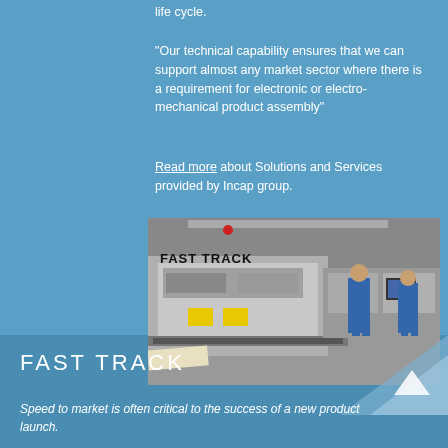life cycle.
"Our technical capability ensures that we can support almost any market sector where there is a requirement for electronic or electro-mechanical product assembly"
Read more about Solutions and Services provided by Incap group.
[Figure (photo): Industrial manufacturing floor with a 'FAST TRACK' machine in the foreground and workers in blue lab coats working at electronic assembly equipment in the background.]
FAST TRACK
Speed to market is often critical to the success of a new product launch.